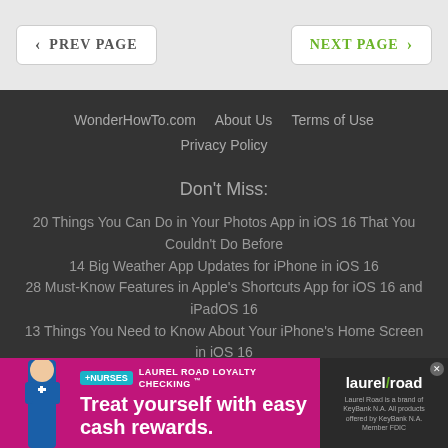< PREV PAGE    NEXT PAGE >
WonderHowTo.com    About Us    Terms of Use    Privacy Policy
Don't Miss:
20 Things You Can Do in Your Photos App in iOS 16 That You Couldn't Do Before
14 Big Weather App Updates for iPhone in iOS 16
28 Must-Know Features in Apple's Shortcuts App for iOS 16 and iPadOS 16
13 Things You Need to Know About Your iPhone's Home Screen in iOS 16
22 Exciting Changes Apple Has for Your Messages App in iOS 16
[Figure (infographic): Laurel Road Loyalty Checking advertisement banner for nurses. Purple/magenta background with a nurse figure on left, text 'Treat yourself with easy cash rewards.' and Laurel Road logo on the right side.]